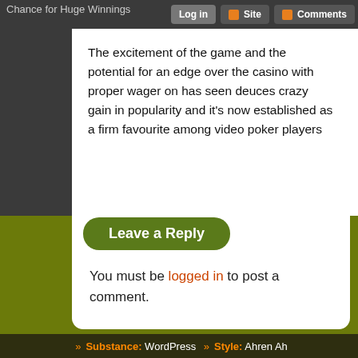Chance for Huge Winnings | Log in | Site | Comments
The excitement of the game and the potential for an edge over the casino with proper wager on has seen deuces crazy gain in popularity and it's now established as a firm favourite among video poker players
Categories :
Leave a Reply
You must be logged in to post a comment.
» Substance: WordPress » Style: Ahren Ah